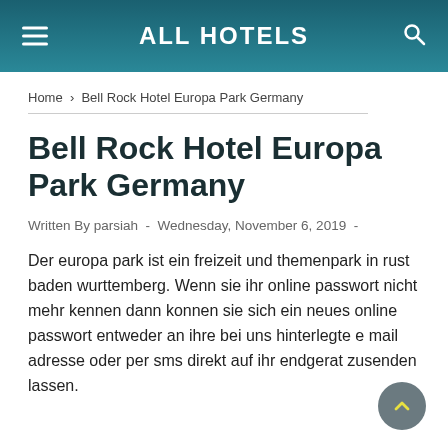ALL HOTELS
Home › Bell Rock Hotel Europa Park Germany
Bell Rock Hotel Europa Park Germany
Written By parsiah  -  Wednesday, November 6, 2019  -
Der europa park ist ein freizeit und themenpark in rust baden wurttemberg. Wenn sie ihr online passwort nicht mehr kennen dann konnen sie sich ein neues online passwort entweder an ihre bei uns hinterlegte e mail adresse oder per sms direkt auf ihr endgerat zusenden lassen.